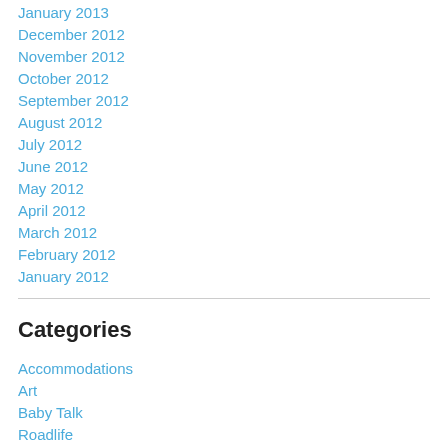January 2013
December 2012
November 2012
October 2012
September 2012
August 2012
July 2012
June 2012
May 2012
April 2012
March 2012
February 2012
January 2012
Categories
Accommodations
Art
Baby Talk
Roadlife